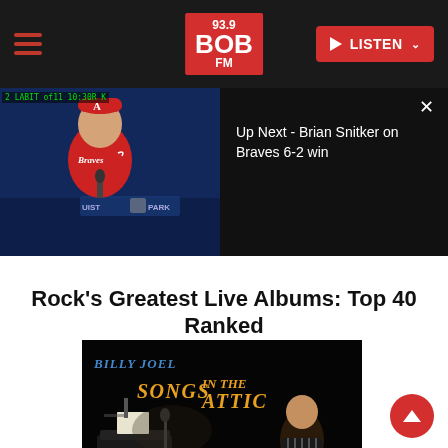93.9 BOB FM — LISTEN
[Figure (screenshot): Video player showing Brian Snitker (Atlanta Braves manager) in red jersey at press conference with Truist Park backdrop. Right side shows black panel with 'Up Next - Brian Snitker on Braves 6-2 win' text and close button.]
Rock's Greatest Live Albums: Top 40 Ranked
[Figure (photo): Billy Joel 'Songs in the Attic' album cover showing dark stage scene with piano and Billy Joel performing. The title 'BILLY JOEL SONGS IN THE ATTIC' is shown in yellow/orange stylized lettering on dark background.]